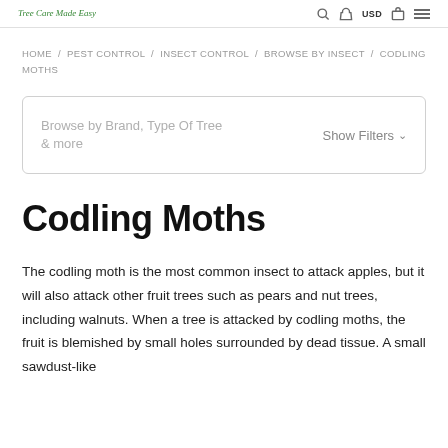Tree Care Made Easy
HOME / PEST CONTROL / INSECT CONTROL / BROWSE BY INSECT / CODLING MOTHS
Browse by Brand, Type Of Tree & more   Show Filters
Codling Moths
The codling moth is the most common insect to attack apples, but it will also attack other fruit trees such as pears and nut trees, including walnuts. When a tree is attacked by codling moths, the fruit is blemished by small holes surrounded by dead tissue. A small sawdust-like